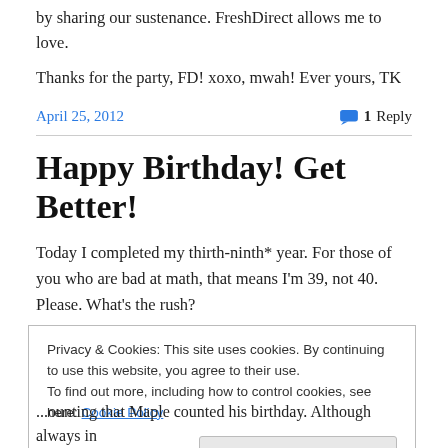by sharing our sustenance. FreshDirect allows me to love.
Thanks for the party, FD! xoxo, mwah! Ever yours, TK
April 25, 2012    💬 1 Reply
Happy Birthday! Get Better!
Today I completed my thirth-ninth* year. For those of you who are bad at math, that means I'm 39, not 40. Please. What's the rush?
Privacy & Cookies: This site uses cookies. By continuing to use this website, you agree to their use.
To find out more, including how to control cookies, see here: Cookie Policy
Close and accept
...